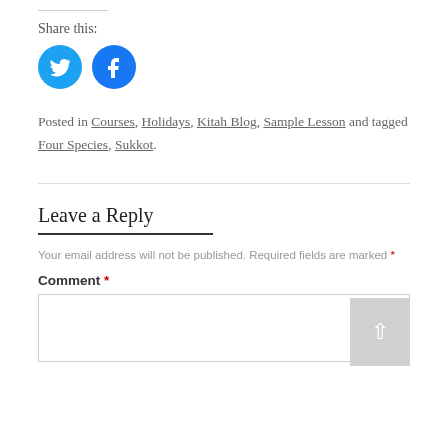Share this:
[Figure (illustration): Twitter and Facebook social share icon buttons (circular blue icons)]
Posted in Courses, Holidays, Kitah Blog, Sample Lesson and tagged Four Species, Sukkot.
Leave a Reply
Your email address will not be published. Required fields are marked *
Comment *